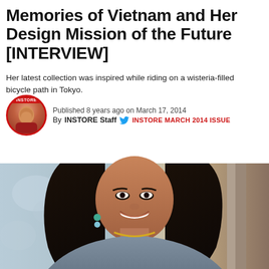Memories of Vietnam and Her Design Mission of the Future [INTERVIEW]
Her latest collection was inspired while riding on a wisteria-filled bicycle path in Tokyo.
Published 8 years ago on March 17, 2014
By INSTORE Staff  INSTORE MARCH 2014 ISSUE
[Figure (photo): Portrait photograph of a smiling woman with long dark hair, wearing a gray jacket and gold necklace, with turquoise earrings, posed in front of a weathered wall with a wooden door frame visible on the right.]